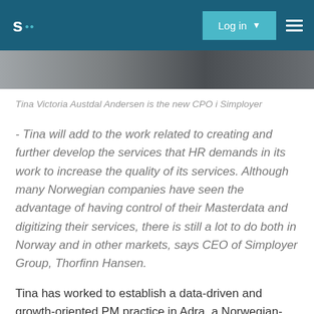s: Log in ☰
[Figure (photo): Photo strip showing partial view of a person, cropped at top of content area]
Tina Victoria Austdal Andersen is the new CPO i Simployer
- Tina will add to the work related to creating and further develop the services that HR demands in its work to increase the quality of its services. Although many Norwegian companies have seen the advantage of having control of their Masterdata and digitizing their services, there is still a lot to do both in Norway and in other markets, says CEO of Simployer Group, Thorfinn Hansen.
Tina has worked to establish a data-driven and growth-oriented PM practice in Adra, a Norwegian-found company that was acquired by American Trintech, and helped take Adra into new markets, such